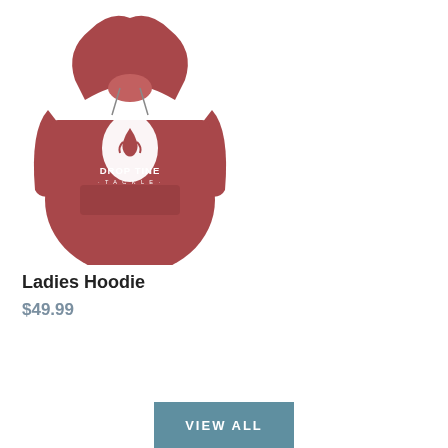[Figure (photo): Red/mauve ladies hoodie with Drop Tine Tackle logo on front — a white teardrop-shaped fish hook logo above the text DROP TINE TACKLE]
Ladies Hoodie
$49.99
VIEW ALL